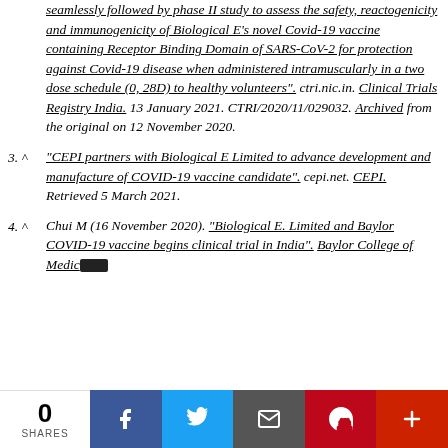(continuation) seamlessly followed by phase II study to assess the safety, reactogenicity and immunogenicity of Biological E's novel Covid-19 vaccine containing Receptor Binding Domain of SARS-CoV-2 for protection against Covid-19 disease when administered intramuscularly in a two dose schedule (0, 28D) to healthy volunteers". ctri.nic.in. Clinical Trials Registry India. 13 January 2021. CTRI/2020/11/029032. Archived from the original on 12 November 2020.
3. ^ "CEPI partners with Biological E Limited to advance development and manufacture of COVID-19 vaccine candidate". cepi.net. CEPI. Retrieved 5 March 2021.
4. ^ Chui M (16 November 2020). "Biological E. Limited and Baylor COVID-19 vaccine begins clinical trial in India". Baylor College of Medicine.